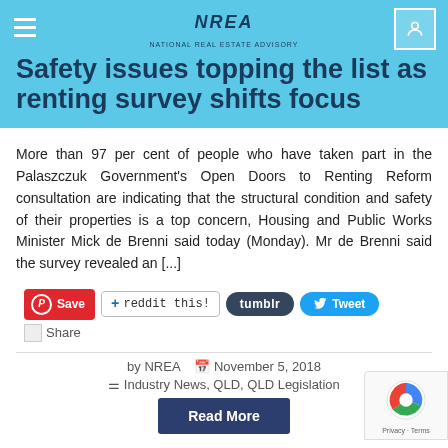Safety issues topping the list as renting survey shifts focus
Safety issues topping the list as renting survey shifts focus
More than 97 per cent of people who have taken part in the Palaszczuk Government's Open Doors to Renting Reform consultation are indicating that the structural condition and safety of their properties is a top concern, Housing and Public Works Minister Mick de Brenni said today (Monday). Mr de Brenni said the survey revealed an [...]
Save  reddit this!  tumblr  Tweet  Share
by NREA   November 5, 2018
Industry News, QLD, QLD Legislation
Read More